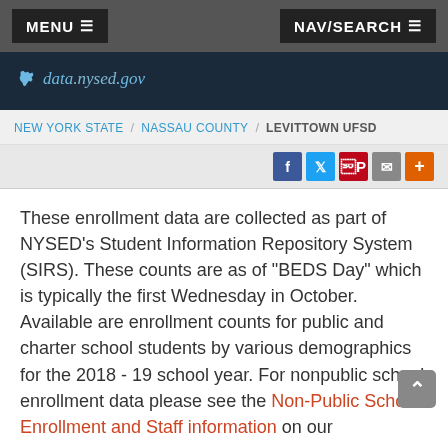MENU ≡   NAV/SEARCH ≡
[Figure (logo): data.nysed.gov logo on dark navy background with New York state outline icon]
NEW YORK STATE / NASSAU COUNTY / LEVITTOWN UFSD
These enrollment data are collected as part of NYSED's Student Information Repository System (SIRS). These counts are as of "BEDS Day" which is typically the first Wednesday in October. Available are enrollment counts for public and charter school students by various demographics for the 2018 - 19 school year. For nonpublic school enrollment data please see the Non-Public School Enrollment and Staff information on our